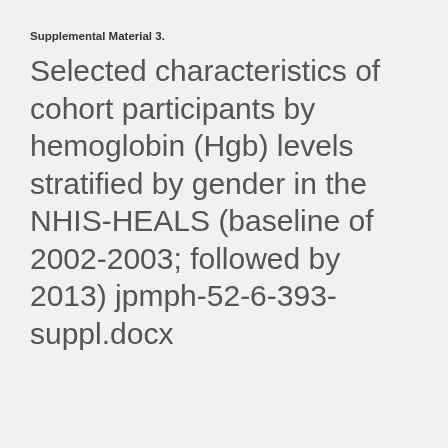Supplemental Material 3.
Selected characteristics of cohort participants by hemoglobin (Hgb) levels stratified by gender in the NHIS-HEALS (baseline of 2002-2003; followed by 2013) jpmph-52-6-393-suppl.docx